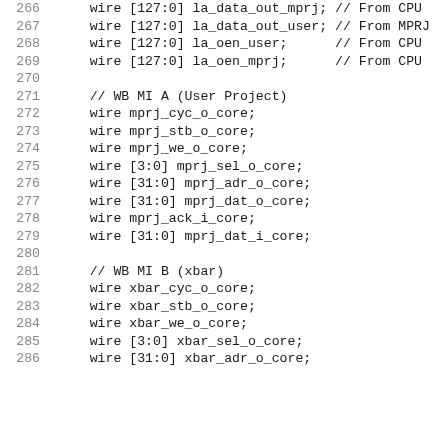266    wire [127:0] la_data_out_mprj; // From CPU
267    wire [127:0] la_data_out_user; // From MPRJ
268    wire [127:0] la_oen_user;      // From CPU
269    wire [127:0] la_oen_mprj;      // From CPU
270
271    // WB MI A (User Project)
272    wire mprj_cyc_o_core;
273    wire mprj_stb_o_core;
274    wire mprj_we_o_core;
275    wire [3:0] mprj_sel_o_core;
276    wire [31:0] mprj_adr_o_core;
277    wire [31:0] mprj_dat_o_core;
278    wire mprj_ack_i_core;
279    wire [31:0] mprj_dat_i_core;
280
281    // WB MI B (xbar)
282    wire xbar_cyc_o_core;
283    wire xbar_stb_o_core;
284    wire xbar_we_o_core;
285    wire [3:0] xbar_sel_o_core;
286    wire [31:0] xbar_adr_o_core;